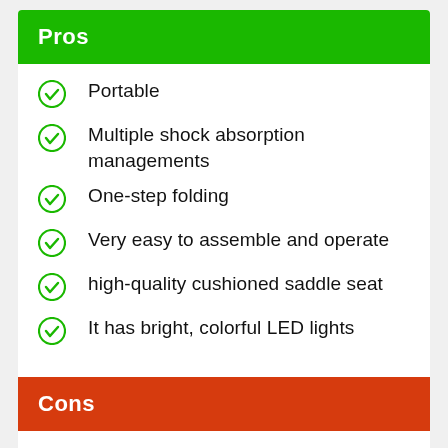Pros
Portable
Multiple shock absorption managements
One-step folding
Very easy to assemble and operate
high-quality cushioned saddle seat
It has bright, colorful LED lights
Cons
Some users reported that it has poor battery life